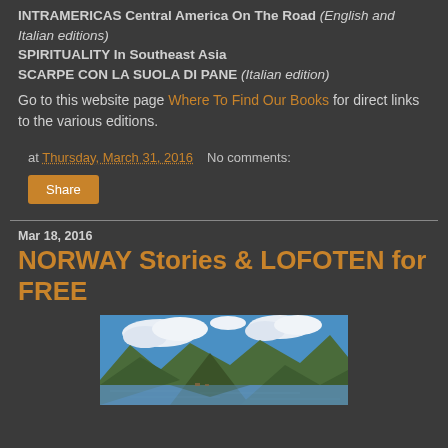INTRAMERICAS Central America On The Road (English and Italian editions)
SPIRITUALITY In Southeast Asia
SCARPE CON LA SUOLA DI PANE (Italian edition)
Go to this website page Where To Find Our Books for direct links to the various editions.
at Thursday, March 31, 2016   No comments:
Share
Mar 18, 2016
NORWAY Stories & LOFOTEN for FREE
[Figure (photo): Landscape photo of Norwegian Lofoten islands showing green mountains, blue sky with white clouds, and a calm reflective lake or fjord with small boats or structures visible on the water.]